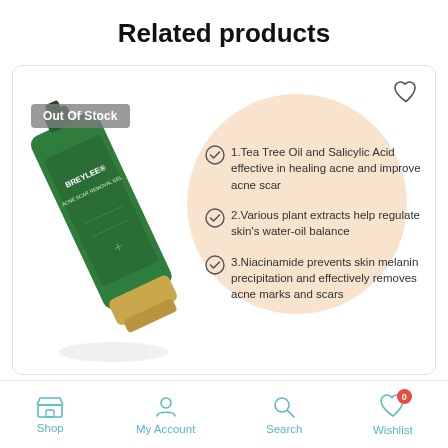Related products
[Figure (photo): Product card showing BREYLEE Acne Scar Removal Gel tube (green with gold cap) on a peach/salmon circular background, with 'Out Of Stock' badge, wishlist heart icon, and three product feature bullet points with checkmarks]
1.Tea Tree Oil and Salicylic Acid effective in healing acne and improve acne scar
2.Various plant extracts help regulate skin's water-oil balance
3.Niacinamide prevents skin melanin precipitation and effectively removes acne marks and scars
Shop  My Account  Search  Wishlist